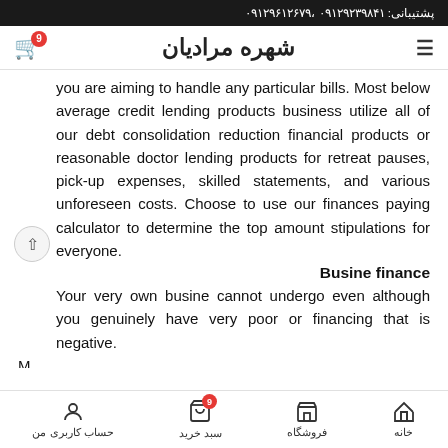پشتیبانی: ۰۹۱۲۹۲۳۹۸۴۱ ،۰۹۱۲۹۶۱۲۶۷۹
شهره مرادیان
you are aiming to handle any particular bills. Most below average credit lending products business utilize all of our debt consolidation reduction financial products or reasonable doctor lending products for retreat pauses, pick-up expenses, skilled statements, and various unforeseen costs. Choose to use our finances paying calculator to determine the top amount stipulations for everyone.
Busine finance
Your very own busine cannot undergo even although you genuinely have very poor or financing that is negative.
خانه | فروشگاه | سبد خرید | حساب کاربری من